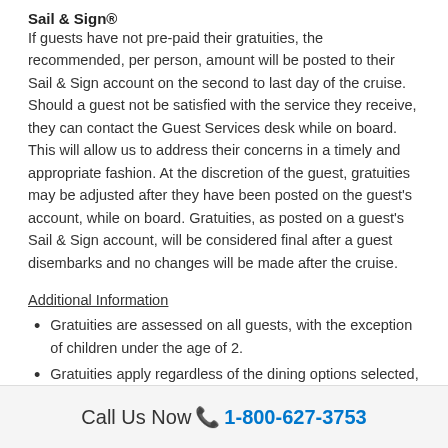Sail & Sign®
If guests have not pre-paid their gratuities, the recommended, per person, amount will be posted to their Sail & Sign account on the second to last day of the cruise. Should a guest not be satisfied with the service they receive, they can contact the Guest Services desk while on board. This will allow us to address their concerns in a timely and appropriate fashion. At the discretion of the guest, gratuities may be adjusted after they have been posted on the guest's account, while on board. Gratuities, as posted on a guest's Sail & Sign account, will be considered final after a guest disembarks and no changes will be made after the cruise.
Additional Information
Gratuities are assessed on all guests, with the exception of children under the age of 2.
Gratuities apply regardless of the dining options selected, such as eating at the casual dining restaurant or open seating dining.
Call Us Now 📞 1-800-627-3753